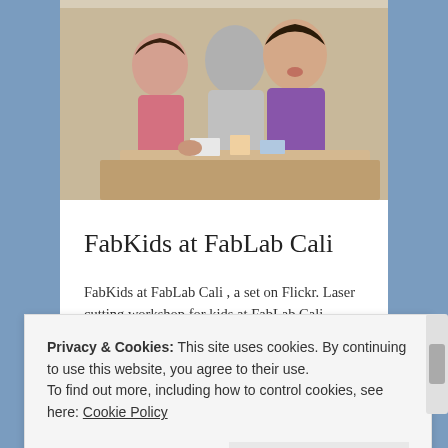[Figure (photo): Children working at a table in a FabLab workshop, two girls visible, one in plaid/pink and one in purple shirt, engaged in a hands-on activity]
FabKids at FabLab Cali
FabKids at FabLab Cali , a set on Flickr. Laser cutting workshop for kids at FabLab Cali, Colombia. Children create their own toys
July 5, 2013 in Blog.
Privacy & Cookies: This site uses cookies. By continuing to use this website, you agree to their use.
To find out more, including how to control cookies, see here: Cookie Policy
Close and accept